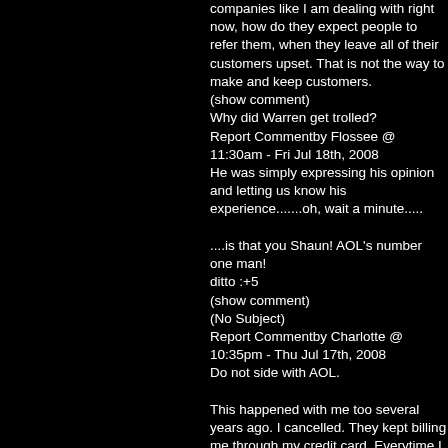companies like I am dealing with right now, how do they expect people to refer them, when they leave all of their customers upset. That is not the way to make and keep customers.
(show comment)
Why did Warren get trolled?
Report Commentby Flossee @ 11:30am - Fri Jul 18th, 2008
He was simply expressing his opinion and letting us know his experience.......oh, wait a minute.....

....is that you Shaun! AOL's number one man!
ditto :+5
(show comment)
(No Subject)
Report Commentby Charlotte @ 10:35pm - Thu Jul 17th, 2008
Do not side with AOL.

This happened with me too several years ago. I cancelled. They kept billing me through my credit card. Everytime I called to cancel AGAIN, I either could not get through or I kept being badgered by the operator to accept his offer